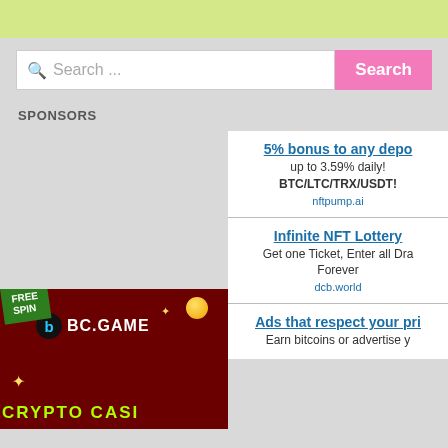[Figure (other): Light yellow-green top banner strip]
Search ...
Search
SPONSORS
5% bonus to any depo
up to 3.59% daily!
BTC/LTC/TRX/USDT!
nftpump.ai
Infinite NFT Lottery
Get one Ticket, Enter all Dra Forever
dcb.world
Ads that respect your pri
Earn bitcoins or advertise y
[Figure (photo): BC.GAME crypto casino banner with FREE SPIN text and green/dark red background]